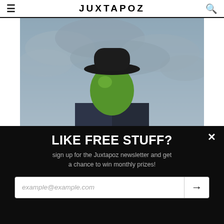JUXTAPOZ
[Figure (photo): René Magritte's 'The Son of Man' painting: a man in a dark suit and bowler hat with a green apple obscuring his face, against a cloudy sky background]
👍 Like 261   Share   🐦 Tweet
Features
Rene Magritte: The Fifth Season at SFMOMA
Enigma, so immediately onomatopoetic in association with
LIKE FREE STUFF?
sign up for the Juxtapoz newsletter and get a chance to win monthly prizes!
example@example.com